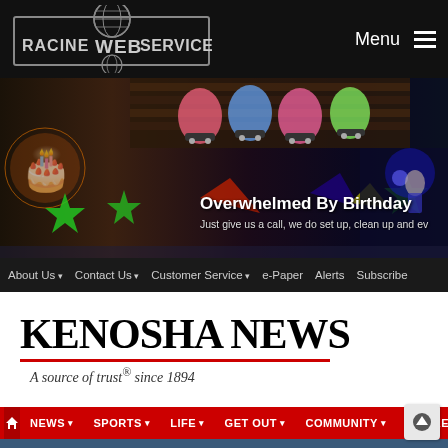[Figure (logo): Racine Web Services logo with globe icon in black header bar]
Menu ☰
[Figure (photo): Hero banner showing roller skates and colorful party/birthday scene with neon lights]
Overwhelmed By Birthday
Just give us a call, we do set up, clean up and ev
About Us ▾  Contact Us ▾  Customer Service ▾  e-Paper  Alerts  Subscribe
[Figure (logo): Kenosha News masthead logo with red underline and tagline 'A source of trust® since 1894']
A source of trust® since 1894
🏠 NEWS ▾  SPORTS ▾  LIFE ▾  GET OUT ▾  COMMUNITY ▾  MARKETPLACE ▾